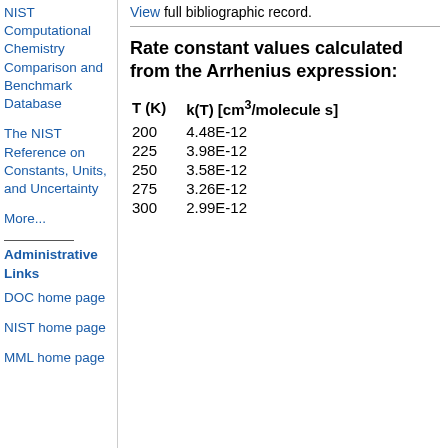NIST Computational Chemistry Comparison and Benchmark Database
The NIST Reference on Constants, Units, and Uncertainty
More...
Administrative Links
DOC home page
NIST home page
MML home page
View full bibliographic record.
Rate constant values calculated from the Arrhenius expression:
| T (K) | k(T) [cm3/molecule s] |
| --- | --- |
| 200 | 4.48E-12 |
| 225 | 3.98E-12 |
| 250 | 3.58E-12 |
| 275 | 3.26E-12 |
| 300 | 2.99E-12 |